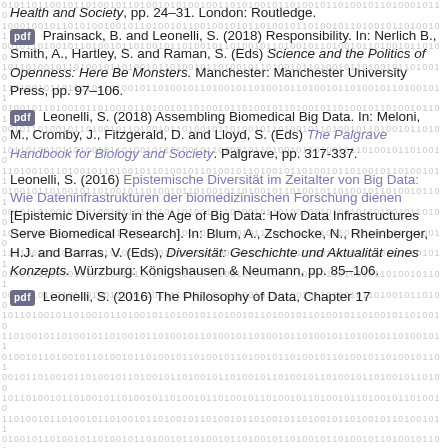Health and Society, pp. 24–31. London: Routledge.
[pdf] Prainsack, B. and Leonelli, S. (2018) Responsibility. In: Nerlich B., Smith, A., Hartley, S. and Raman, S. (Eds) Science and the Politics of Openness: Here Be Monsters. Manchester: Manchester University Press, pp. 97–106.
[pdf] Leonelli, S. (2018) Assembling Biomedical Big Data. In: Meloni, M., Cromby, J., Fitzgerald, D. and Lloyd, S. (Eds) The Palgrave Handbook for Biology and Society. Palgrave, pp. 317-337.
Leonelli, S. (2016) Epistemische Diversität im Zeitalter von Big Data: Wie Dateninfrastrukturen der biomedizinischen Forschung dienen [Epistemic Diversity in the Age of Big Data: How Data Infrastructures Serve Biomedical Research]. In: Blum, A., Zschocke, N., Rheinberger, H.J. and Barras, V. (Eds), Diversität: Geschichte und Aktualität eines Konzepts. Würzburg: Königshausen & Neumann, pp. 85–106.
[pdf] Leonelli, S. (2016) The Philosophy of Data, Chapter 17